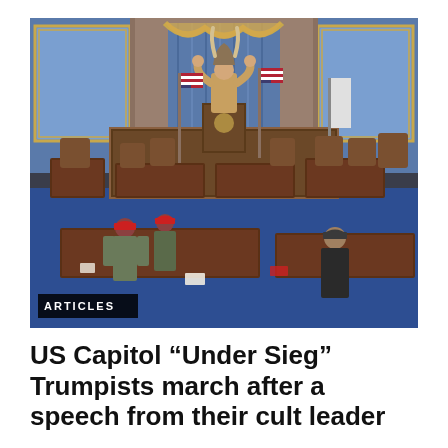[Figure (photo): Interior of the US Senate chamber showing rioters on the floor. A person in a horned fur hat stands at the Senate dais flexing. Several people wearing red MAGA hats and tactical gear are visible on the Senate floor. American flags stand near the podium. The Senate chamber has blue walls with ornate gold trim and a blue patterned carpet. An 'ARTICLES' label overlay appears in the bottom-left corner of the image.]
US Capitol “Under Sieg” Trumpists march after a speech from their cult leader